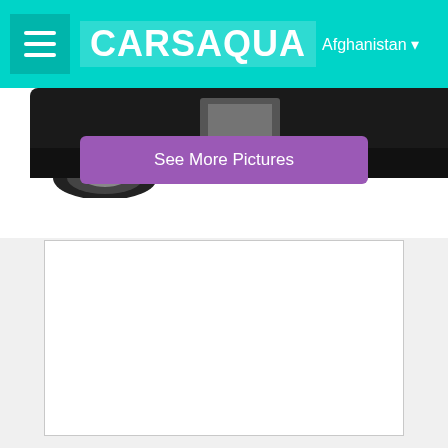CARSAQUA Afghanistan
[Figure (photo): Partial view of a black car (bottom/rear section visible) against a white background with a purple 'See More Pictures' button overlay]
[Figure (other): Empty white rectangular content/advertisement box with light gray border]